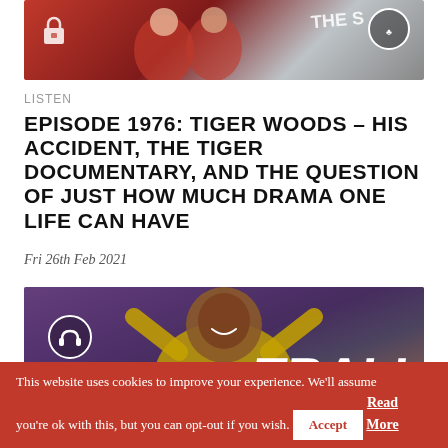[Figure (photo): Top image showing sports/football themed thumbnail with a lock icon in the top-left corner, red jersey figures, and 'THE S' text visible with a circular logo]
LISTEN
EPISODE 1976: TIGER WOODS – HIS ACCIDENT, THE TIGER DOCUMENTARY, AND THE QUESTION OF JUST HOW MUCH DRAMA ONE LIFE CAN HAVE
Fri 26th Feb 2021
[Figure (photo): Bottom image showing Pelé celebrating in yellow Brazilian kit with arms raised, with a headphone/listen circle icon overlay and 'TBALL' text in bold diagonal on the right side]
This website uses cookies to improve your experience. We'll assume you're ok with this, but you can opt-out if you wish. Accept Read More